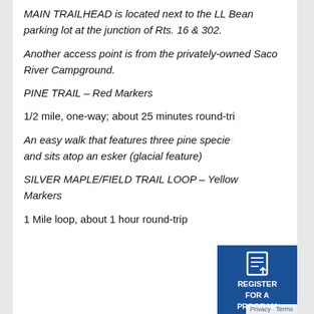MAIN TRAILHEAD is located next to the LL Bean parking lot at the junction of Rts. 16 & 302.
Another access point is from the privately-owned Saco River Campground.
PINE TRAIL – Red Markers
1/2 mile, one-way; about 25 minutes round-trip
An easy walk that features three pine species and sits atop an esker (glacial feature)
SILVER MAPLE/FIELD TRAIL LOOP – Yellow Markers
1 Mile loop, about 1 hour round-trip
[Figure (other): Register for a Program button overlay (blue rectangle with icon and text)]
[Figure (other): Accessibility icon button (blue rounded square with person icon)]
Privacy · Terms